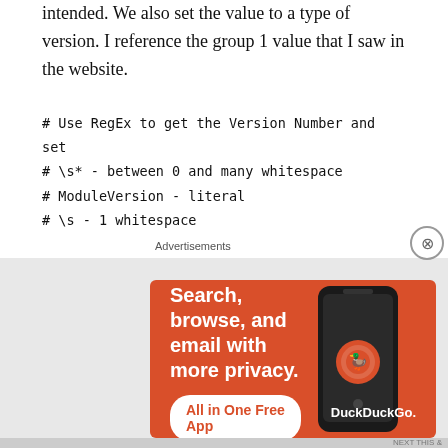intended. We also set the value to a type of version. I reference the group 1 value that I saw in the website.
# Use RegEx to get the Version Number and set
# \s* - between 0 and many whitespace
# ModuleVersion - literal
# \s - 1 whitespace
# = - literal
# \s - 1 whitespace
# ' - literal
# () - capture Group
# \d* - between 0 and many digits
# ' - literal
# \s* between 0 and many whitespace
[Figure (screenshot): DuckDuckGo advertisement banner: Search, browse, and email with more privacy. All in One Free App.]